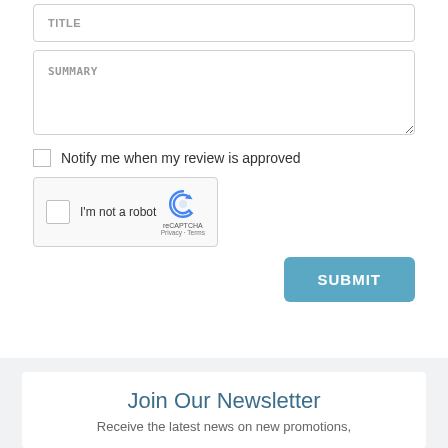TITLE
SUMMARY
Notify me when my review is approved
[Figure (screenshot): reCAPTCHA widget with checkbox and 'I'm not a robot' text, reCAPTCHA logo, Privacy and Terms links]
SUBMIT
Join Our Newsletter
Receive the latest news on new promotions,